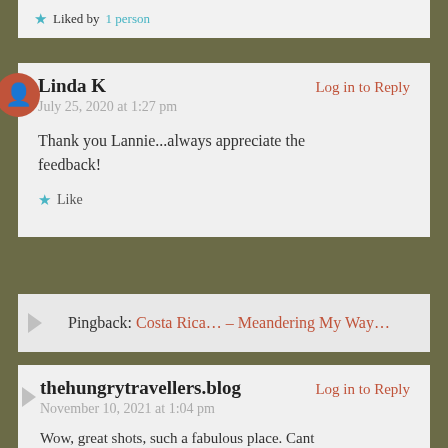★ Liked by 1 person
Linda K — Log in to Reply
July 25, 2020 at 1:27 pm

Thank you Lannie...always appreciate the feedback!

★ Like
Pingback: Costa Rica... – Meandering My Way...
thehungrytravellers.blog — Log in to Reply
November 10, 2021 at 1:04 pm

Wow, great shots, such a fabulous place. Cant wait to see all that wildlife.